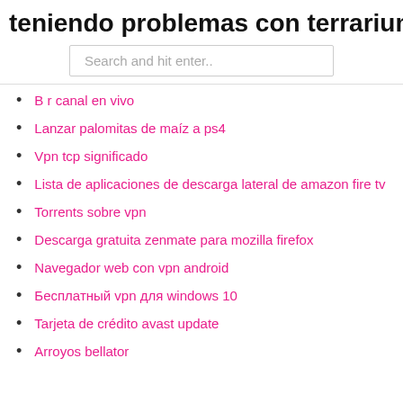teniendo problemas con terrarium tv
Search and hit enter..
B r canal en vivo
Lanzar palomitas de maíz a ps4
Vpn tcp significado
Lista de aplicaciones de descarga lateral de amazon fire tv
Torrents sobre vpn
Descarga gratuita zenmate para mozilla firefox
Navegador web con vpn android
Бесплатный vpn для windows 10
Tarjeta de crédito avast update
Arroyos bellator